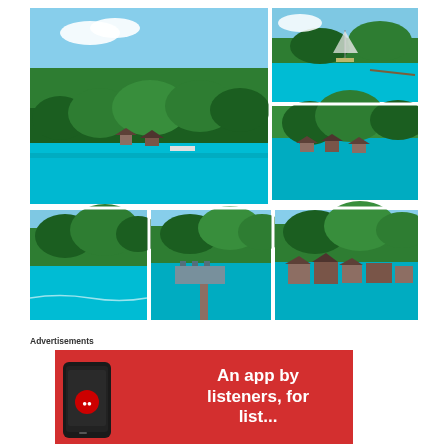[Figure (photo): Collage of 6 tropical island photos showing green hills, turquoise water, sailboats, thatched roof bungalows, and waterfront structures]
Advertisements
[Figure (infographic): Red advertisement banner with bold white text 'An app by listeners, for listeners' and a smartphone image on the left]